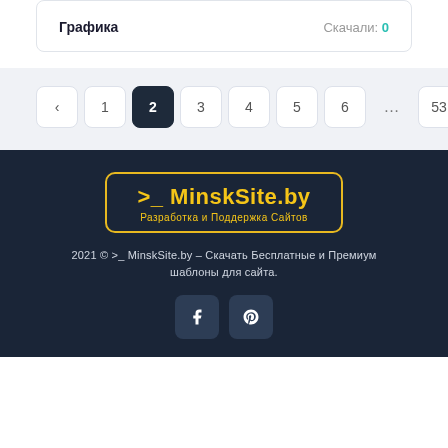Графика   Скачали: 0
< 1 2 3 4 5 6 ... 53
[Figure (logo): MinskSite.by logo with yellow text and border, subtitle: Разработка и Поддержка Сайтов]
2021 © >_ MinskSite.by – Скачать Бесплатные и Премиум шаблоны для сайта.
[Figure (other): Social media icons: Facebook and Pinterest]